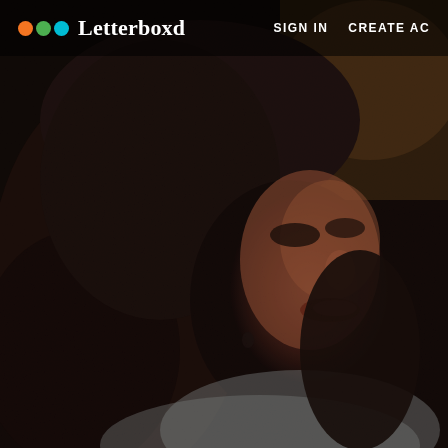[Figure (photo): Dark, grainy photo of a woman with shoulder-length dark hair, smiling slightly, facing right, wearing a light-colored top. Background is dark and blurry.]
Letterboxd   SIGN IN   CREATE AC